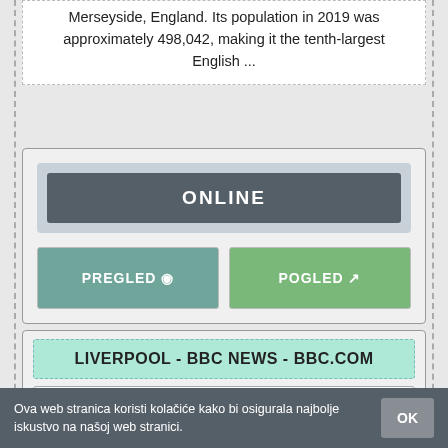Merseyside, England. Its population in 2019 was approximately 498,042, making it the tenth-largest English ...
[Figure (screenshot): UI card with ONLINE button and two action buttons: PREGLED (preview eye icon) and POGLED (external link icon)]
[Figure (screenshot): BBC card showing title 'LIVERPOOL - BBC NEWS - BBC.COM' and URL https://www.bbc.com/news/england/merseyside]
Ova web stranica koristi kolačiće kako bi osigurala najbolje iskustvo na našoj web stranici.